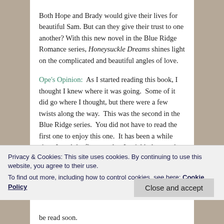Both Hope and Brady would give their lives for beautiful Sam. But can they give their trust to one another? With this new novel in the Blue Ridge Romance series, Honeysuckle Dreams shines light on the complicated and beautiful angles of love.
Ope's Opinion:  As I started reading this book, I thought I knew where it was going.  Some of it did go where I thought, but there were a few twists along the way.  This was the second in the Blue Ridge series.  You did not have to read the first one to enjoy this one.  It has been a while since I read the first one, but I quickly knew what was going on.
Privacy & Cookies: This site uses cookies. By continuing to use this website, you agree to their use.
To find out more, including how to control cookies, see here: Cookie Policy
Close and accept
be read soon.